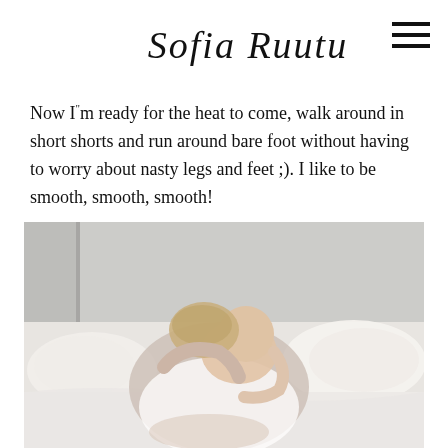Sofia Ruutu
Now I"m ready for the heat to come, walk around in short shorts and run around bare foot without having to worry about nasty legs and feet ;). I like to be smooth, smooth, smooth!
[Figure (photo): A woman lying on a white bed holding a baby, photographed from above in a bright, minimalist bedroom setting with white pillows and bedding.]